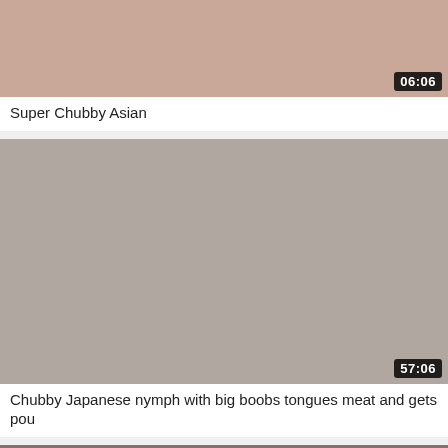[Figure (photo): Video thumbnail showing a chubby Asian person, with duration badge 06:06]
Super Chubby Asian
[Figure (photo): Video thumbnail showing a chubby Japanese woman on a couch, with duration badge 57:06]
Chubby Japanese nymph with big boobs tongues meat and gets pou
[Figure (photo): Video thumbnail showing a person with brown hair lying down, partially visible]